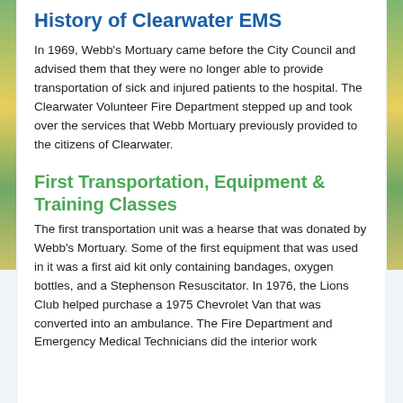History of Clearwater EMS
In 1969, Webb's Mortuary came before the City Council and advised them that they were no longer able to provide transportation of sick and injured patients to the hospital. The Clearwater Volunteer Fire Department stepped up and took over the services that Webb Mortuary previously provided to the citizens of Clearwater.
First Transportation, Equipment & Training Classes
The first transportation unit was a hearse that was donated by Webb's Mortuary. Some of the first equipment that was used in it was a first aid kit only containing bandages, oxygen bottles, and a Stephenson Resuscitator. In 1976, the Lions Club helped purchase a 1975 Chevrolet Van that was converted into an ambulance. The Fire Department and Emergency Medical Technicians did the interior work